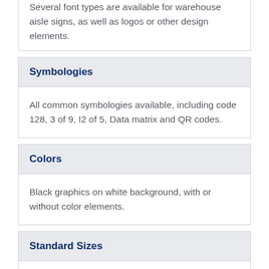Several font types are available for warehouse aisle signs, as well as logos or other design elements.
Symbologies
All common symbologies available, including code 128, 3 of 9, I2 of 5, Data matrix and QR codes.
Colors
Black graphics on white background, with or without color elements.
Standard Sizes
Aisle signs are available in several standard and custom sizes.